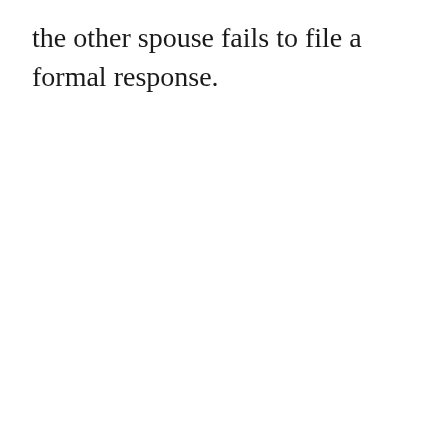the other spouse fails to file a formal response.